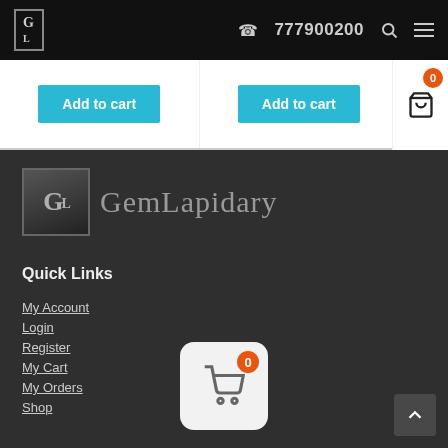GL logo | 777900200 | search | menu
[Figure (screenshot): Two product cards with 'Add to cart' cyan buttons, partially visible at top of page with a shopping cart icon and orange badge showing 0]
[Figure (logo): GemLapidary logo: square GL monogram with text 'GemLapidary' in serif font on dark background]
Quick Links
My Account
Login
Register
My Cart
My Orders
Shop
[Figure (screenshot): Shopping cart widget icon with orange badge showing 0 on white rounded square]
[Figure (other): Scroll to top arrow button in dark grey square]